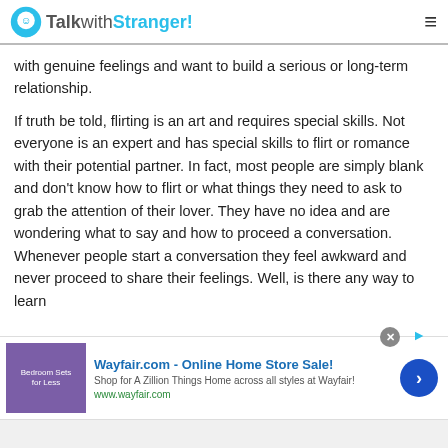TalkwithStranger!
with genuine feelings and want to build a serious or long-term relationship.
If truth be told, flirting is an art and requires special skills. Not everyone is an expert and has special skills to flirt or romance with their potential partner. In fact, most people are simply blank and don’t know how to flirt or what things they need to ask to grab the attention of their lover. They have no idea and are wondering what to say and how to proceed a conversation. Whenever people start a conversation they feel awkward and never proceed to share their feelings. Well, is there any way to learn
[Figure (screenshot): Wayfair.com advertisement banner with text 'Wayfair.com - Online Home Store Sale! Shop for A Zillion Things Home across all styles at Wayfair! www.wayfair.com' and a bedroom furniture image on the left and a blue arrow button on the right.]